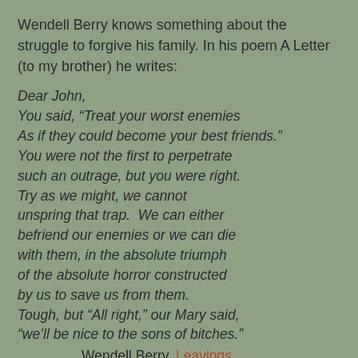Wendell Berry knows something about the struggle to forgive his family. In his poem A Letter (to my brother) he writes:
Dear John,
You said, “Treat your worst enemies
As if they could become your best friends.”
You were not the first to perpetrate
such an outrage, but you were right.
Try as we might, we cannot
unspring that trap.  We can either
befriend our enemies or we can die
with them, in the absolute triumph
of the absolute horror constructed
by us to save us from them.
Tough, but “All right,” our Mary said,
“we’ll be nice to the sons of bitches.”
Wendell Berry, Leavings
Forgiveness is an outrage.  It is a call that requires hard work, lots of help and usually time. The only thing worse is the opposite—what Berry calls “the absolute triumph of the